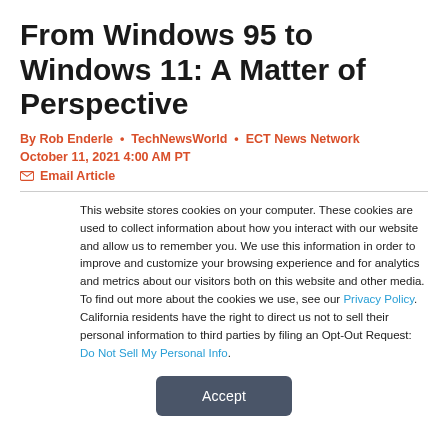From Windows 95 to Windows 11: A Matter of Perspective
By Rob Enderle • TechNewsWorld • ECT News Network
October 11, 2021 4:00 AM PT
✉ Email Article
This website stores cookies on your computer. These cookies are used to collect information about how you interact with our website and allow us to remember you. We use this information in order to improve and customize your browsing experience and for analytics and metrics about our visitors both on this website and other media. To find out more about the cookies we use, see our Privacy Policy. California residents have the right to direct us not to sell their personal information to third parties by filing an Opt-Out Request: Do Not Sell My Personal Info.
Accept